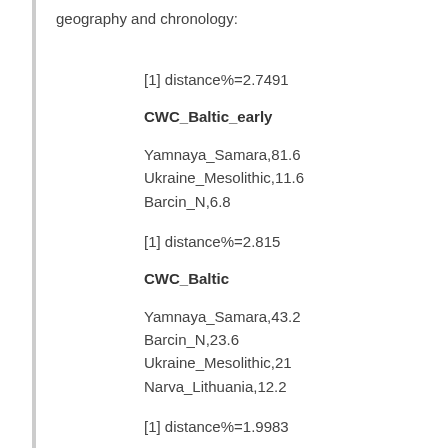geography and chronology:
[1] distance%=2.7491
CWC_Baltic_early
Yamnaya_Samara,81.6
Ukraine_Mesolithic,11.6
Barcin_N,6.8
[1] distance%=2.815
CWC_Baltic
Yamnaya_Samara,43.2
Barcin_N,23.6
Ukraine_Mesolithic,21
Narva_Lithuania,12.2
[1] distance%=1.9983
CWC_Czech
Yamnaya_Samara,61.2